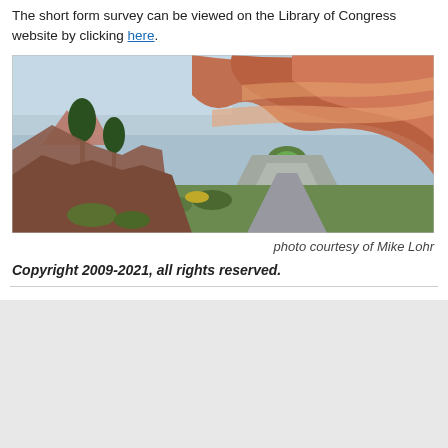The short form survey can be viewed on the Library of Congress website by clicking here.
[Figure (photo): Panoramic photograph of Red Rocks showing red sandstone rock formations with a road going through a tunnel arch, trees and shrubs in the foreground, and a cloudy sky.]
photo courtesy of Mike Lohr
Copyright 2009-2021, all rights reserved.